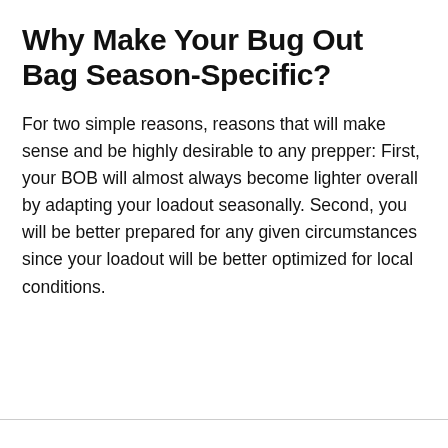Why Make Your Bug Out Bag Season-Specific?
For two simple reasons, reasons that will make sense and be highly desirable to any prepper: First, your BOB will almost always become lighter overall by adapting your loadout seasonally. Second, you will be better prepared for any given circumstances since your loadout will be better optimized for local conditions.